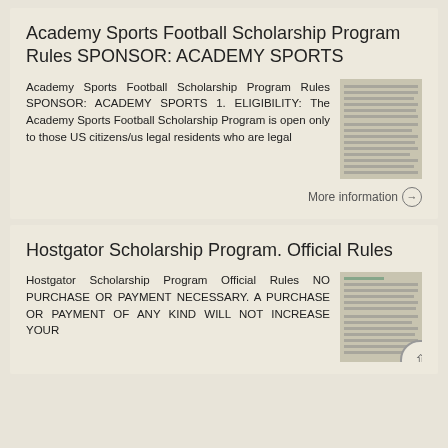Academy Sports Football Scholarship Program Rules SPONSOR: ACADEMY SPORTS
Academy Sports Football Scholarship Program Rules SPONSOR: ACADEMY SPORTS 1. ELIGIBILITY: The Academy Sports Football Scholarship Program is open only to those US citizens/us legal residents who are legal
[Figure (screenshot): Thumbnail image of the Academy Sports Football Scholarship Program Rules document]
More information →
Hostgator Scholarship Program. Official Rules
Hostgator Scholarship Program Official Rules NO PURCHASE OR PAYMENT NECESSARY. A PURCHASE OR PAYMENT OF ANY KIND WILL NOT INCREASE YOUR
[Figure (screenshot): Thumbnail image of the Hostgator Scholarship Program Official Rules document]